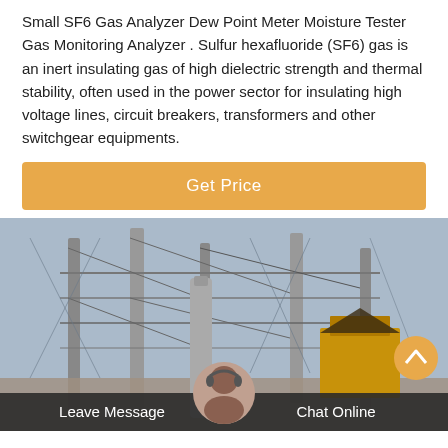Small SF6 Gas Analyzer Dew Point Meter Moisture Tester Gas Monitoring Analyzer . Sulfur hexafluoride (SF6) gas is an inert insulating gas of high dielectric strength and thermal stability, often used in the power sector for insulating high voltage lines, circuit breakers, transformers and other switchgear equipments.
Get Price
[Figure (photo): Industrial electrical substation with metal pylons, cables, and yellow equipment visible in the background]
Leave Message
Chat Online